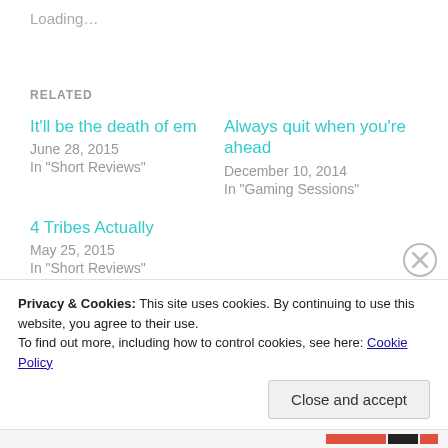Loading...
RELATED
It'll be the death of em
June 28, 2015
In "Short Reviews"
Always quit when you're ahead
December 10, 2014
In "Gaming Sessions"
4 Tribes Actually
May 25, 2015
In "Short Reviews"
Privacy & Cookies: This site uses cookies. By continuing to use this website, you agree to their use.
To find out more, including how to control cookies, see here: Cookie Policy
Close and accept